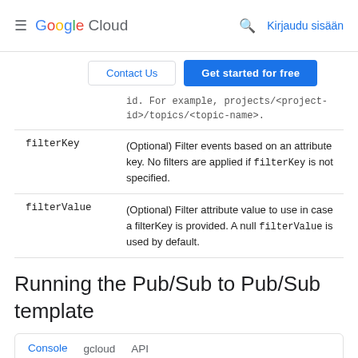Google Cloud | Kirjaudu sisään
[Figure (screenshot): Contact Us and Get started for free buttons]
| Parameter | Description |
| --- | --- |
|  | id. For example, projects/<project-id>/topics/<topic-name>. |
| filterKey | (Optional) Filter events based on an attribute key. No filters are applied if filterKey is not specified. |
| filterValue | (Optional) Filter attribute value to use in case a filterKey is provided. A null filterValue is used by default. |
Running the Pub/Sub to Pub/Sub template
Console  gcloud  API